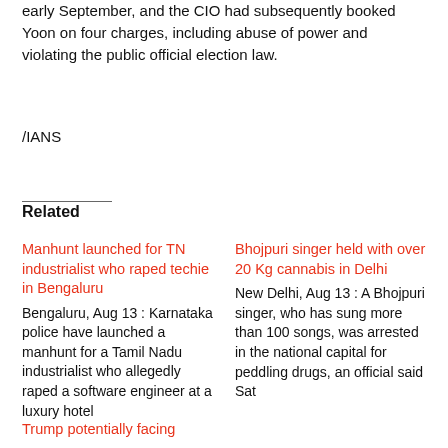early September, and the CIO had subsequently booked Yoon on four charges, including abuse of power and violating the public official election law.
/IANS
Related
Manhunt launched for TN industrialist who raped techie in Bengaluru
Bengaluru, Aug 13 : Karnataka police have launched a manhunt for a Tamil Nadu industrialist who allegedly raped a software engineer at a luxury hotel
Bhojpuri singer held with over 20 Kg cannabis in Delhi
New Delhi, Aug 13 : A Bhojpuri singer, who has sung more than 100 songs, was arrested in the national capital for peddling drugs, an official said Sat
Trump potentially facing